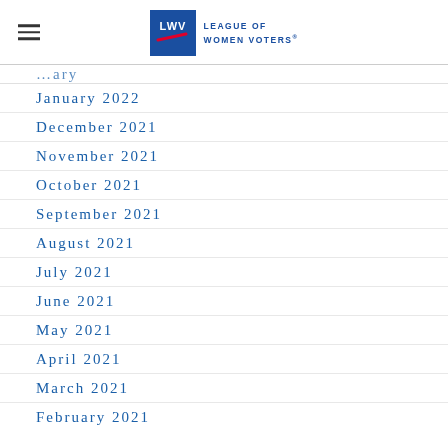League of Women Voters
January 2022
December 2021
November 2021
October 2021
September 2021
August 2021
July 2021
June 2021
May 2021
April 2021
March 2021
February 2021